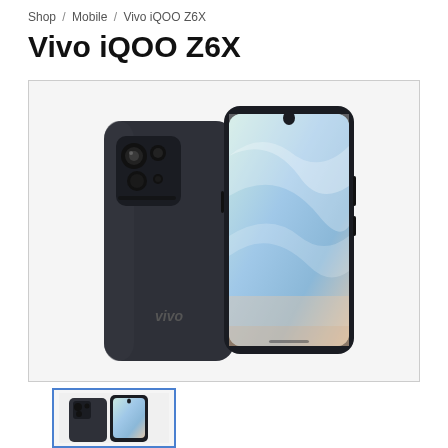Shop / Mobile / Vivo iQOO Z6X
Vivo iQOO Z6X
[Figure (photo): Product photo of Vivo iQOO Z6X smartphone, showing front and back views. The back is dark grey/black with a square camera module containing multiple lenses and a 'vivo' logo. The front shows a display with a colorful gradient wallpaper (blue, green, peach tones) and a teardrop notch at top.]
[Figure (photo): Thumbnail image of the same Vivo iQOO Z6X smartphone product photo, smaller version.]